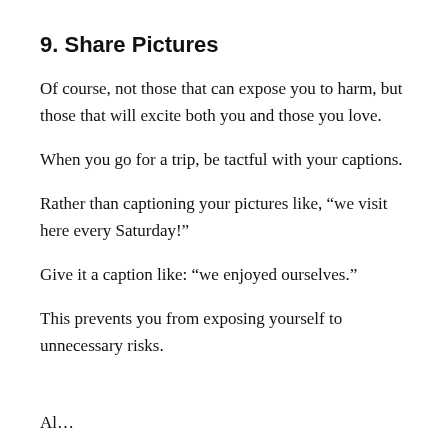9. Share Pictures
Of course, not those that can expose you to harm, but those that will excite both you and those you love.
When you go for a trip, be tactful with your captions.
Rather than captioning your pictures like, “we visit here every Saturday!”
Give it a caption like: “we enjoyed ourselves.”
This prevents you from exposing yourself to unnecessary risks.
Al...